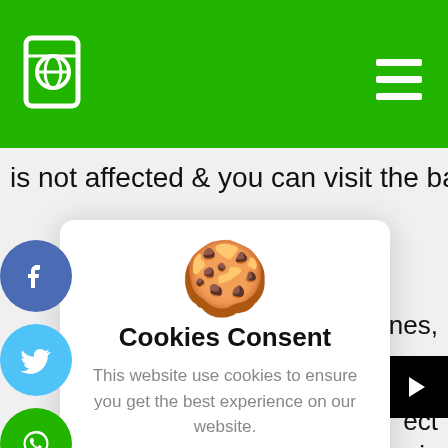[Green header bar with globe/book icon and hamburger menu]
is not affected & you can visit the bank
[Figure (screenshot): Cookies consent modal overlay with cookie emoji icon, title 'Cookies Consent', body text 'This website use cookies to ensure you get the best experience on our website.', and two buttons: 'I understand' and 'Privacy Policy']
I understand
Privacy Policy